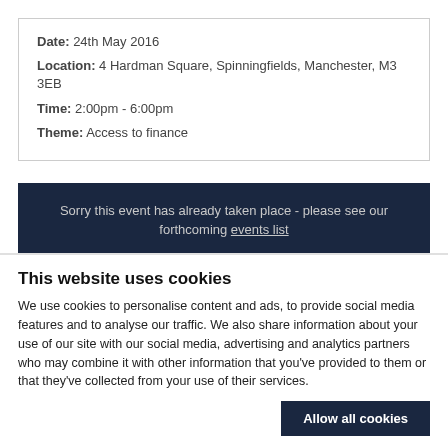Date: 24th May 2016
Location: 4 Hardman Square, Spinningfields, Manchester, M3 3EB
Time: 2:00pm - 6:00pm
Theme: Access to finance
Sorry this event has already taken place - please see our forthcoming events list
THIS EVENT HAS NOW BEEN POSTPONED. A NEW DATE WILL BE LISTED VERY SHORTLY. IF YOU WOULD LIKE TO CONTACT US REGARDING THIS EVENT PLEASE EMAIL philip.hargreaves@businessgrowthhub.com
This website uses cookies
We use cookies to personalise content and ads, to provide social media features and to analyse our traffic. We also share information about your use of our site with our social media, advertising and analytics partners who may combine it with other information that you've provided to them or that they've collected from your use of their services.